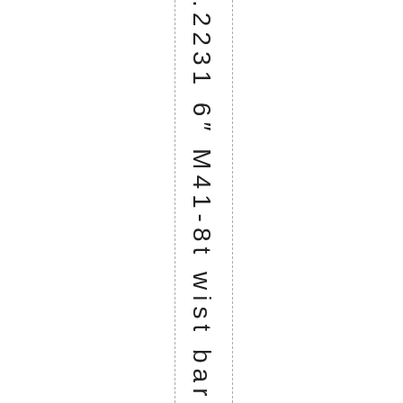.2231 6" M41-8t wist barrel, No Bol